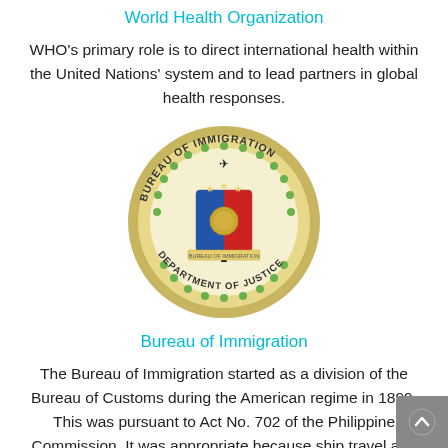World Health Organization
WHO’s primary role is to direct international health within the United Nations’ system and to lead partners in global health responses.
[Figure (logo): Bureau of Immigration seal - circular gold emblem with coat of arms (blue and red shield), text 'BUREAU OF IMMIGRATION' and 'DEPARTMENT OF JUSTICE' around the border, green laurel dots]
Bureau of Immigration
The Bureau of Immigration started as a division of the Bureau of Customs during the American regime in 1899. This was pursuant to Act No. 702 of the Philippine Commission. It was appropriate because ship travel and ship cargo were interlinked and hence,